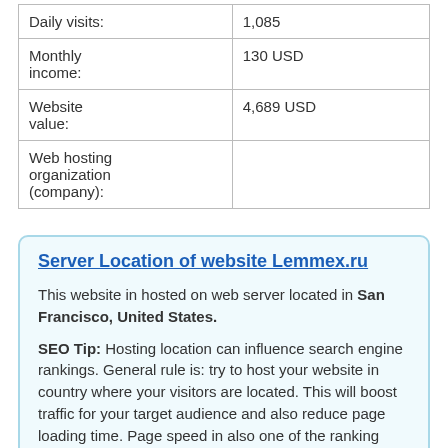| Daily visits: | 1,085 |
| Monthly income: | 130 USD |
| Website value: | 4,689 USD |
| Web hosting organization (company): |  |
Server Location of website Lemmex.ru
This website in hosted on web server located in San Francisco, United States.
SEO Tip: Hosting location can influence search engine rankings. General rule is: try to host your website in country where your visitors are located. This will boost traffic for your target audience and also reduce page loading time. Page speed in also one of the ranking factors in search engine ranking alhorithms and it will also enable your users to browse throught your site more easily. If website loads fast visitors will generally spend more time on it, look at more pages and buy more products on it.